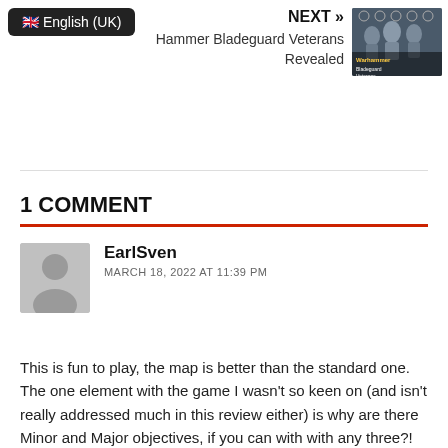English (UK)
NEXT » Hammer Bladeguard Veterans Revealed
[Figure (photo): Thumbnail image of Warhammer Bladeguard Veterans miniatures]
1 COMMENT
EarlSven
MARCH 18, 2022 AT 11:39 PM
This is fun to play, the map is better than the standard one. The one element with the game I wasn't so keen on (and isn't really addressed much in this review either) is why are there Minor and Major objectives, if you can with with any three?! OK the rewards are better for Major objectives, but surely they should also count more towards victory! We enjoyed the leaders special abilities as well, but found the rules a bit confusing for them though we did eventually work it out. I